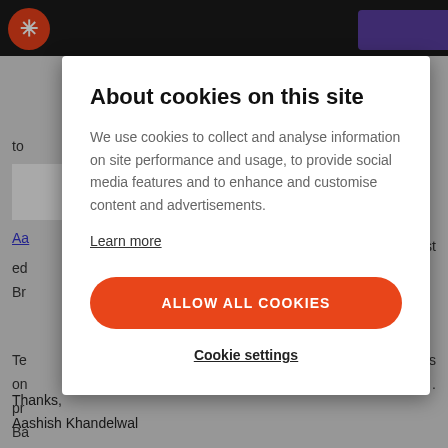[Figure (screenshot): Website header with orange star logo on dark background and purple button top right]
About cookies on this site
We use cookies to collect and analyse information on site performance and usage, to provide social media features and to enhance and customise content and advertisements.
Learn more
ALLOW ALL COOKIES
Cookie settings
Thanks,
Aashish Khandelwal